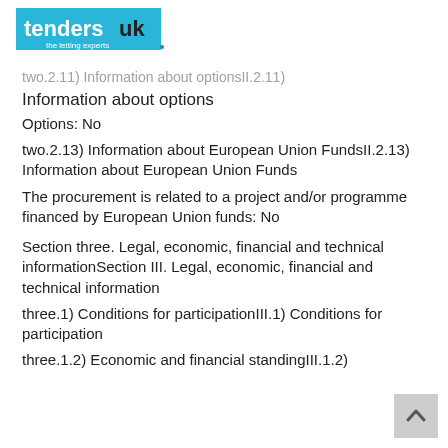[Figure (logo): TendersUK logo - blue diamond shape with 'tendersuk' text and 'the letting experts' tagline]
two.2.11) Information about optionsII.2.11) Information about options
Information about options
Options: No
two.2.13) Information about European Union FundsII.2.13) Information about European Union Funds
The procurement is related to a project and/or programme financed by European Union funds: No
Section three. Legal, economic, financial and technical informationSection III. Legal, economic, financial and technical information
three.1) Conditions for participationIII.1) Conditions for participation
three.1.2) Economic and financial standingIII.1.2)